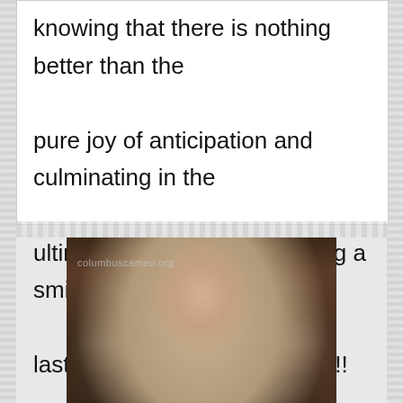knowing that there is nothing better than the pure joy of anticipation and culminating in the ultimate Healy Kansas leaving a smile that lasts for days into trying new!!!
[Figure (photo): Portrait photo of a young woman with long straight dark brown hair, neutral expression, light skin, wearing a dark top. Watermark reads 'columbuscameo.org'.]